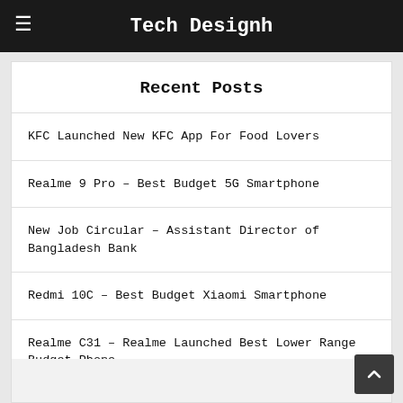Tech Designh
Recent Posts
KFC Launched New KFC App For Food Lovers
Realme 9 Pro – Best Budget 5G Smartphone
New Job Circular – Assistant Director of Bangladesh Bank
Redmi 10C – Best Budget Xiaomi Smartphone
Realme C31 – Realme Launched Best Lower Range Budget Phone